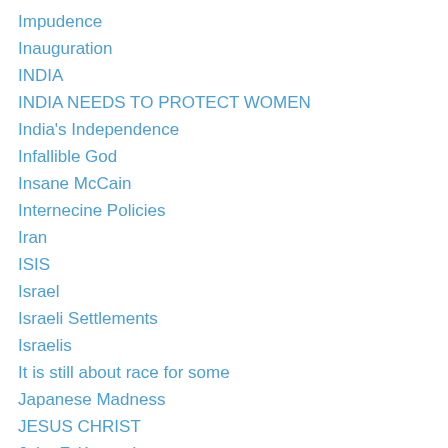Impudence
Inauguration
INDIA
INDIA NEEDS TO PROTECT WOMEN
India's Independence
Infallible God
Insane McCain
Internecine Policies
Iran
ISIS
Israel
Israeli Settlements
Israelis
It is still about race for some
Japanese Madness
JESUS CHRIST
John F. Kennedy
John McCain
Josef Stalin
Kamikaze